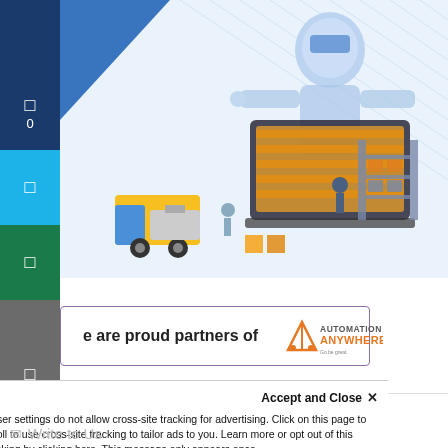[Figure (illustration): Isometric illustration of a robot/AI figure emerging from a laptop screen, with warehouse shelving, a delivery truck, workers, and packages in the foreground. Blue and orange color scheme.]
e are proud partners of Automation Anywhere
Request for information
Write to Us
Accept and Close ✕
Your browser settings do not allow cross-site tracking for advertising. Click on this page to allow AdRoll to use cross-site tracking to tailor ads to you. Learn more or opt out of this AdRoll tracking by clicking here. This message only appears once.